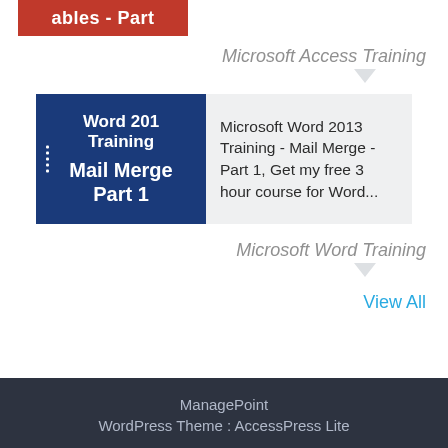[Figure (screenshot): Partial thumbnail of a Microsoft Access Tables training video with red background showing 'ables - Part' text]
Microsoft Access Training
[Figure (screenshot): Microsoft Word 2013 Training - Mail Merge Part 1 thumbnail with dark blue background]
Microsoft Word 2013 Training - Mail Merge - Part 1, Get my free 3 hour course for Word...
Microsoft Word Training
View All
ManagePoint
WordPress Theme : AccessPress Lite